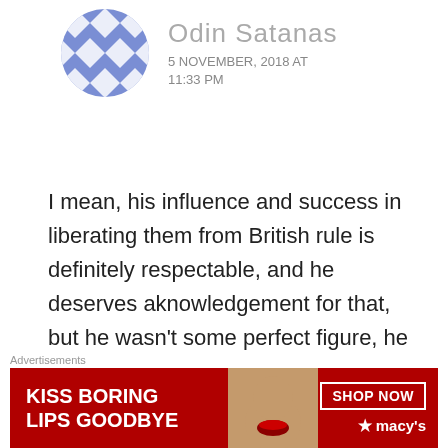[Figure (illustration): Blue and white diamond/checkerboard pattern avatar icon for user Odin Satanas]
Odin Satanas
5 NOVEMBER, 2018 AT
11:33 PM
I mean, his influence and success in liberating them from British rule is definitely respectable, and he deserves aknowledgement for that, but he wasn't some perfect figure, he wouldn't even look at or help the lower caste there, and the caste system in India is one of the worst
Advertisements
[Figure (screenshot): Macy's advertisement banner: 'KISS BORING LIPS GOODBYE' with SHOP NOW button and Macy's star logo on red background with woman's face]